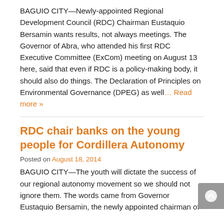BAGUIO CITY—Newly-appointed Regional Development Council (RDC) Chairman Eustaquio Bersamin wants results, not always meetings. The Governor of Abra, who attended his first RDC Executive Committee (ExCom) meeting on August 13 here, said that even if RDC is a policy-making body, it should also do things. The Declaration of Principles on Environmental Governance (DPEG) as well… Read more »
RDC chair banks on the young people for Cordillera Autonomy
Posted on August 18, 2014
BAGUIO CITY—The youth will dictate the success of our regional autonomy movement so we should not ignore them. The words came from Governor Eustaquio Bersamin, the newly appointed chairman of